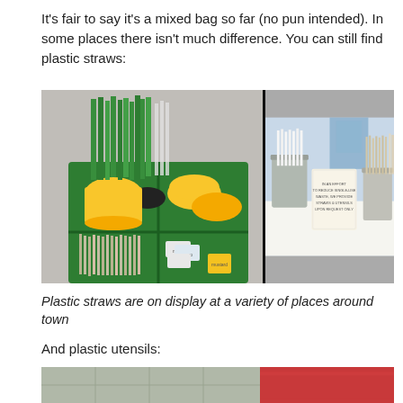It's fair to say it's a mixed bag so far (no pun intended). In some places there isn't much difference. You can still find plastic straws:
[Figure (photo): Two side-by-side photos. Left photo shows a green organizer box containing green plastic straws, yellow lidded containers, assorted condiment packets and stirrers. Right photo shows a cafe/restaurant counter with white paper straws in a metal bucket, tan/beige straws in another holder, and a sign that reads 'In an effort to reduce single-use waste, we provide straws & utensils upon request only.']
Plastic straws are on display at a variety of places around town
And plastic utensils:
[Figure (photo): Two side-by-side partial photos at the bottom. Left shows a grey/green tiled surface. Right shows a bright red surface or container.]